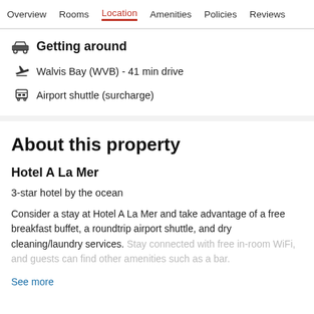Overview  Rooms  Location  Amenities  Policies  Reviews
Getting around
Walvis Bay (WVB) - 41 min drive
Airport shuttle (surcharge)
About this property
Hotel A La Mer
3-star hotel by the ocean
Consider a stay at Hotel A La Mer and take advantage of a free breakfast buffet, a roundtrip airport shuttle, and dry cleaning/laundry services. Stay connected with free in-room WiFi, and guests can find other amenities such as a bar.
See more